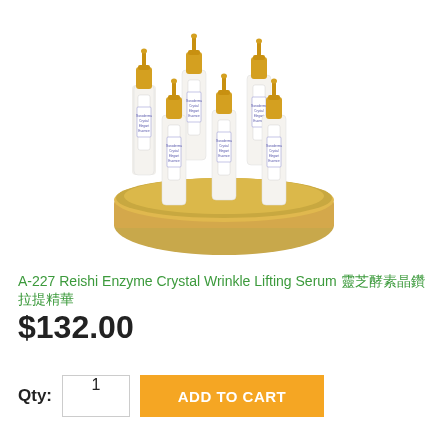[Figure (photo): Set of luxury skincare serum bottles with gold dropper caps arranged in a circular gold base/holder. The white bottles are labeled 'Ganoderma Crystal Elegant Essence'.]
A-227 Reishi Enzyme Crystal Wrinkle Lifting Serum 靈芝酵素晶鑽拉提精華
$132.00
Qty: 1  ADD TO CART